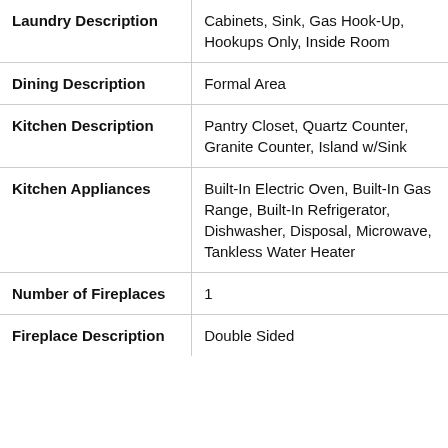| Field | Value |
| --- | --- |
| Laundry Description | Cabinets, Sink, Gas Hook-Up, Hookups Only, Inside Room |
| Dining Description | Formal Area |
| Kitchen Description | Pantry Closet, Quartz Counter, Granite Counter, Island w/Sink |
| Kitchen Appliances | Built-In Electric Oven, Built-In Gas Range, Built-In Refrigerator, Dishwasher, Disposal, Microwave, Tankless Water Heater |
| Number of Fireplaces | 1 |
| Fireplace Description | Double Sided |